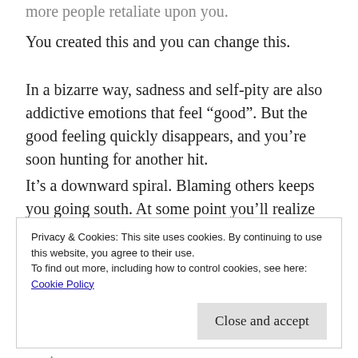more people retaliate upon you.
You created this and you can change this.
In a bizarre way, sadness and self-pity are also addictive emotions that feel “good”. But the good feeling quickly disappears, and you’re soon hunting for another hit.
It’s a downward spiral. Blaming others keeps you going south. At some point you’ll realize the truth and become desperate enough to stop the cycle and change direction. Today perhaps? : -)
Privacy & Cookies: This site uses cookies. By continuing to use this website, you agree to their use.
To find out more, including how to control cookies, see here:
Cookie Policy
Close and accept
On the other side of this are fun, laughter and getting